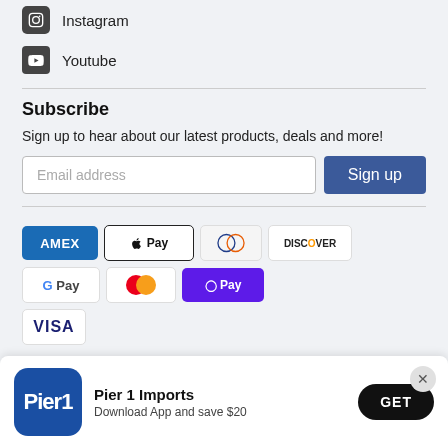Instagram
Youtube
Subscribe
Sign up to hear about our latest products, deals and more!
Email address | Sign up
[Figure (other): Payment method logos: AMEX, Apple Pay, Diners, Discover, Google Pay, Mastercard, Shopify Pay, VISA]
[Figure (other): Pier 1 Imports app download banner with logo, text 'Pier 1 Imports / Download App and save $20', and GET button]